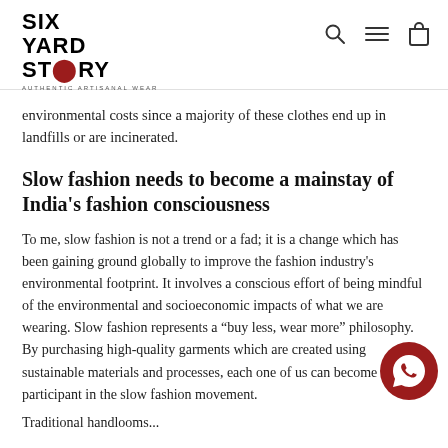SIX YARD STORY — AUTHENTIC ARTISANAL WEAR
environmental costs since a majority of these clothes end up in landfills or are incinerated.
Slow fashion needs to become a mainstay of India's fashion consciousness
To me, slow fashion is not a trend or a fad; it is a change which has been gaining ground globally to improve the fashion industry's environmental footprint. It involves a conscious effort of being mindful of the environmental and socioeconomic impacts of what we are wearing. Slow fashion represents a “buy less, wear more” philosophy. By purchasing high-quality garments which are created using sustainable materials and processes, each one of us can become a participant in the slow fashion movement.
Traditional handlooms...